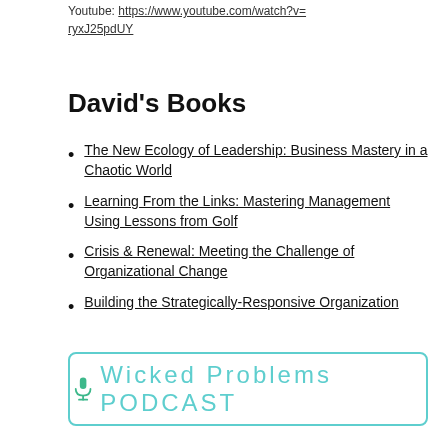Youtube: https://www.youtube.com/watch?v=ryxJ25pdUY
David's Books
The New Ecology of Leadership: Business Mastery in a Chaotic World
Learning From the Links: Mastering Management Using Lessons from Golf
Crisis & Renewal: Meeting the Challenge of Organizational Change
Building the Strategically-Responsive Organization
[Figure (logo): Wicked Problems PODCAST banner with microphone icon in teal/cyan color, inside a rounded rectangle border]